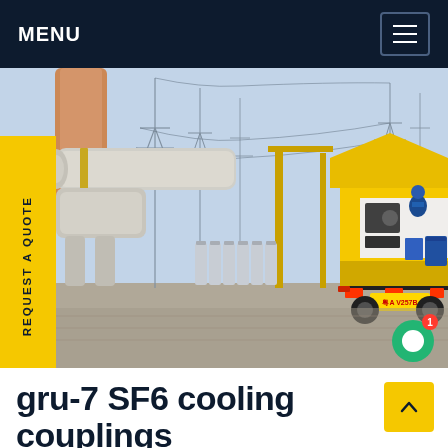MENU
[Figure (photo): Electrical substation with high-voltage GIS equipment (large gray insulated pipes/couplings on the left), rows of gas cylinders in the middle background, and a yellow service truck with a worker inside at the right. Tall transmission towers and blue sky in the background. A vertical yellow tab on the left reads 'REQUEST A QUOTE'.]
gru-7 SF6 cooling couplings